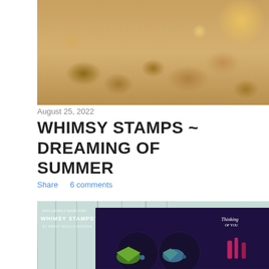[Figure (photo): Top photo of seashells and starfish arranged on sandy beach background]
August 25, 2022
WHIMSY STAMPS ~ DREAMING OF SUMMER
Share    6 comments
[Figure (photo): Whimsy Stamps product photo showing a handmade card with tropical fish and seahorse on dark purple background, with text 'Thinking of You'. Wooden plank background. Logo reads 'Exclusively Made For Whimsy Stamps by Wendy Nicola Jackson']